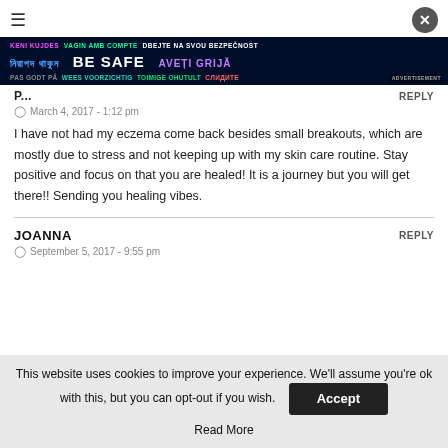[Figure (screenshot): Hamburger menu icon (three horizontal lines) top left]
[Figure (screenshot): Close/X button (dark circle with X) top right]
[Figure (screenshot): Advertisement banner: BE SAFE multilingual safety banner in dark background]
P...
March 4, 2017 - 1:12 pm
I have not had my eczema come back besides small breakouts, which are mostly due to stress and not keeping up with my skin care routine. Stay positive and focus on that you are healed! It is a journey but you will get there!! Sending you healing vibes.
JOANNA
REPLY
September 5, 2017 - 9:55 pm
This website uses cookies to improve your experience. We'll assume you're ok with this, but you can opt-out if you wish. Accept
Read More